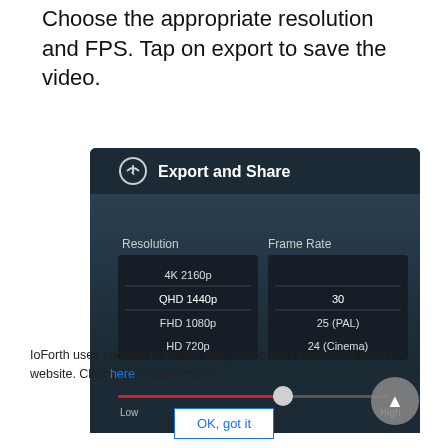Choose the appropriate resolution and FPS. Tap on export to save the video.
[Figure (screenshot): Screenshot of a mobile app's 'Export and Share' dialog showing Resolution options (4K 2160p, QHD 1440p, FHD 1080p, HD 720p) and Frame Rate options (30, 25 (PAL), 24 (Cinema)), with a quality slider from Low to High. A back/up arrow icon appears in the bottom-right corner.]
IoForth uses cookies to ensure you get the best experience on our website. Click here to learn more.
OK, got it